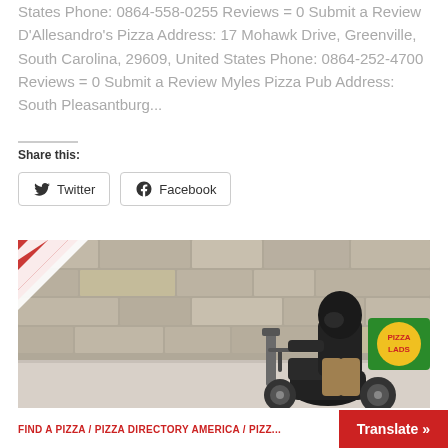States Phone: 0864-558-0255 Reviews = 0 Submit a Review D'Allesandro's Pizza Address: 17 Mohawk Drive, Greenville, South Carolina, 29609, United States Phone: 0864-252-4700 Reviews = 0 Submit a Review Myles Pizza Pub Address: South Pleasantburg...
Share this:
[Figure (other): Social share buttons for Twitter and Facebook with icons, displayed as outlined rectangular buttons]
[Figure (photo): A pizza delivery person wearing a black helmet and black shirt riding a scooter/moped with a green Pizza Lads delivery box on the back, in front of a stone wall background. Red and white diagonal stripes in the top-left corner.]
FIND A PIZZA / PIZZA DIRECTORY AMERICA / PIZZ... Translate »